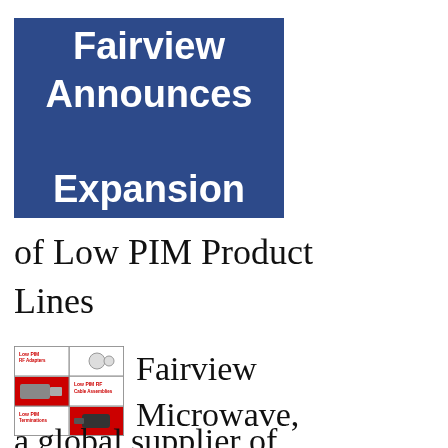Fairview Announces Expansion
of Low PIM Product Lines
[Figure (photo): Product catalog image showing Low PIM RF Adapters, Low PIM RF Cable Assemblies, and Low PIM Terminations on a red and white grid layout]
Fairview Microwave, a global supplier of